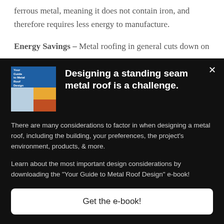ferrous metal, meaning it does not contain iron, and therefore requires less energy to manufacture.
Energy Savings – Metal roofing in general cuts down on
[Figure (other): Popup advertisement for 'Your Guide to Metal Roof Design' e-book with book cover image, headline 'Designing a standing seam metal roof is a challenge.', descriptive text, and a 'Get the e-book!' call-to-action button on a black background.]
Designing a standing seam metal roof is a challenge.
There are many considerations to factor in when designing a metal roof, including the building, your preferences, the project's environment, products, & more.
Learn about the most important design considerations by downloading the "Your Guide to Metal Roof Design" e-book!